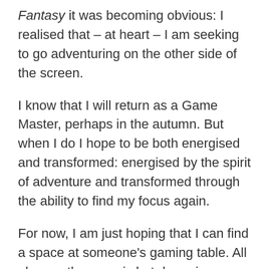Fantasy it was becoming obvious: I realised that – at heart – I am seeking to go adventuring on the other side of the screen.
I know that I will return as a Game Master, perhaps in the autumn. But when I do I hope to be both energised and transformed: energised by the spirit of adventure and transformed through the ability to find my focus again.
For now, I am just hoping that I can find a space at someone's gaming table. All else, as they say, is but dreaming.